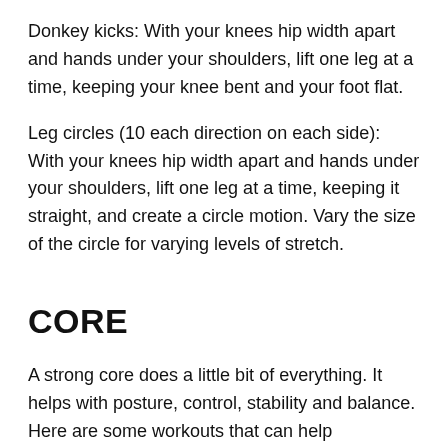Donkey kicks: With your knees hip width apart and hands under your shoulders, lift one leg at a time, keeping your knee bent and your foot flat.
Leg circles (10 each direction on each side): With your knees hip width apart and hands under your shoulders, lift one leg at a time, keeping it straight, and create a circle motion. Vary the size of the circle for varying levels of stretch.
CORE
A strong core does a little bit of everything. It helps with posture, control, stability and balance. Here are some workouts that can help strengthen your core and in turn, your overall running:
Planks are one of the best ways to work on core strength and not put undue stress on your back like crunches can